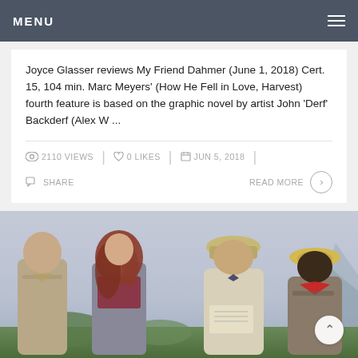MENU
Joyce Glasser reviews My Friend Dahmer (June 1, 2018) Cert. 15, 104 min. Marc Meyers' (How He Fell in Love, Harvest) fourth feature is based on the graphic novel by artist John 'Derf' Backderf (Alex W ...
2110 VIEWS | 0 LIKES | JUN 5, 2018 | SHARE | READ MORE
[Figure (photo): Movie still showing four actors in jungle/outdoor setting — a bald muscular man in khaki shirt, a woman with red hair in gray vest, a heavyset man in pith helmet holding a map, and a shorter man in straw hat with red neckerchief]